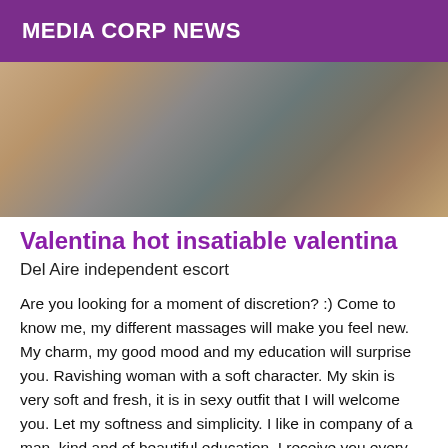MEDIA CORP NEWS
[Figure (photo): Partial photo of a woman in dark clothing, cropped and shown from behind/side angle]
Valentina hot insatiable valentina
Del Aire independent escort
Are you looking for a moment of discretion? :) Come to know me, my different massages will make you feel new. My charm, my good mood and my education will surprise you. Ravishing woman with a soft character. My skin is very soft and fresh, it is in sexy outfit that I will welcome you. Let my softness and simplicity. I like in company of a man, kind and of beautiful education. I receive you every day 9am until 11pm. Thank you for calling me in advance See you soon, Big Kisses! *I don't answer to mask, landline and SMS numbers. metro jeans jaures